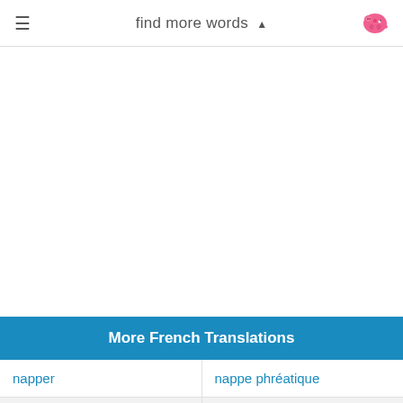find more words ▲
More French Translations
napper | nappe phréatique
nappe libre | nappées